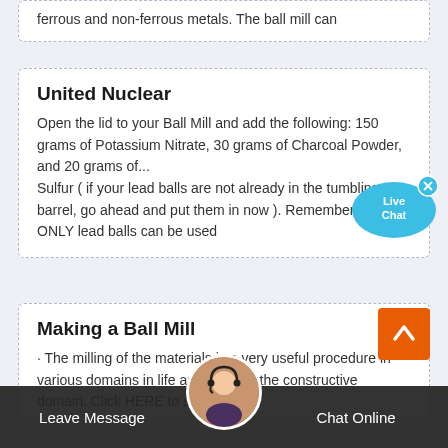ferrous and non-ferrous metals. The ball mill can
United Nuclear
Open the lid to your Ball Mill and add the following: 150 grams of Potassium Nitrate, 30 grams of Charcoal Powder, and 20 grams of... Sulfur ( if your lead balls are not already in the tumbling barrel, go ahead and put them in now ). Remember that ONLY lead balls can be used
[Figure (illustration): Live Chat speech bubble icon with 'Live Chat' text and an X close button, in blue]
Making a Ball Mill
· The milling of the materials is a very useful procedure in various domains in life as well as in the constructive domain. Click HERE to subscri...
[Figure (illustration): Orange back-to-top button with upward chevron arrow]
[Figure (photo): Customer service agent avatar photo, circular, woman with headset]
Leave Message    Chat Online